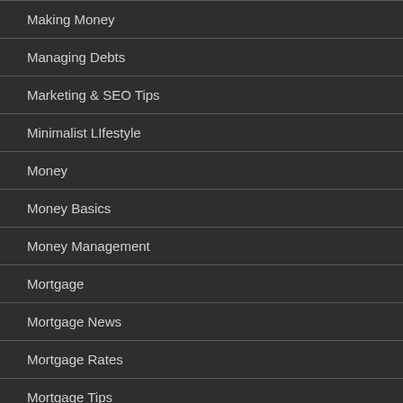Making Money
Managing Debts
Marketing & SEO Tips
Minimalist LIfestyle
Money
Money Basics
Money Management
Mortgage
Mortgage News
Mortgage Rates
Mortgage Tips